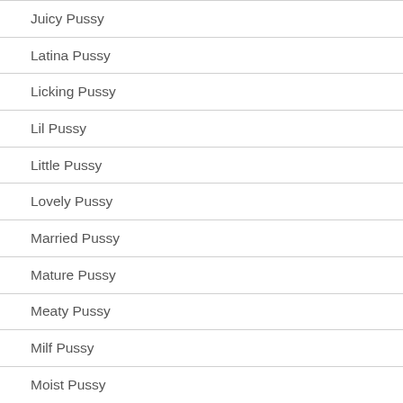Juicy Pussy
Latina Pussy
Licking Pussy
Lil Pussy
Little Pussy
Lovely Pussy
Married Pussy
Mature Pussy
Meaty Pussy
Milf Pussy
Moist Pussy